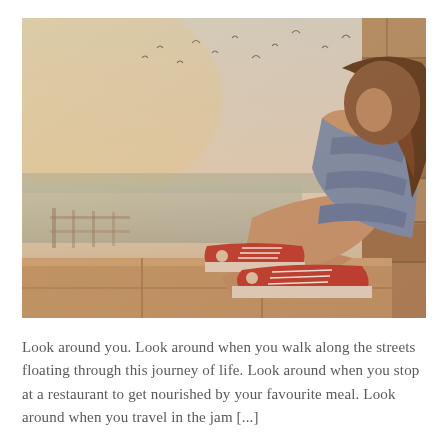[Figure (photo): A young woman with long dark curly hair sits leaning against a stone wall outdoors, wearing a blue striped off-shoulder top and red Converse sneakers. She is looking down, with her knees bent. In the background is a blurred seascape or lakeside view with birds in the sky. The photo has a warm vintage tone.]
Look around you. Look around when you walk along the streets floating through this journey of life. Look around when you stop at a restaurant to get nourished by your favourite meal. Look around when you travel in the jam [...]